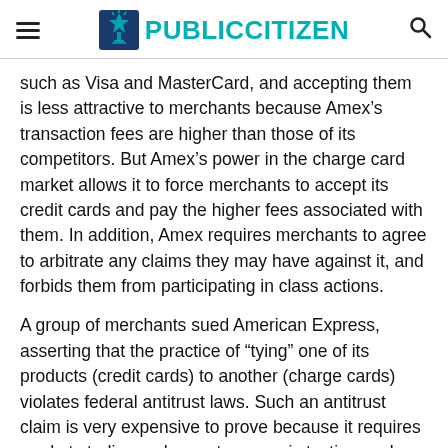PUBLIC CITIZEN
such as Visa and MasterCard, and accepting them is less attractive to merchants because Amex’s transaction fees are higher than those of its competitors. But Amex’s power in the charge card market allows it to force merchants to accept its credit cards and pay the higher fees associated with them. In addition, Amex requires merchants to agree to arbitrate any claims they may have against it, and forbids them from participating in class actions.
A group of merchants sued American Express, asserting that the practice of “tying” one of its products (credit cards) to another (charge cards) violates federal antitrust laws. Such an antitrust claim is very expensive to prove because it requires market studies and expert economic testimony. In this case, a single market study necessary to pursue a case